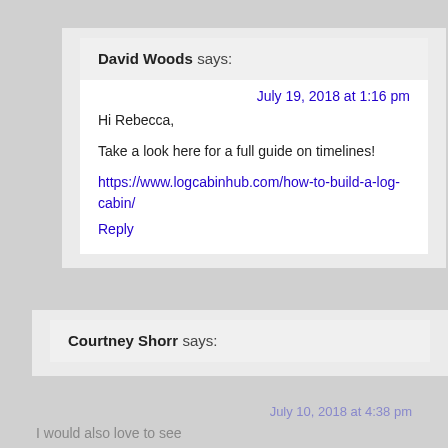David Woods says:
July 19, 2018 at 1:16 pm
Hi Rebecca,
Take a look here for a full guide on timelines!
https://www.logcabinhub.com/how-to-build-a-log-cabin/
Reply
Courtney Shorr says:
July 10, 2018 at 4:38 pm
I would also love to see